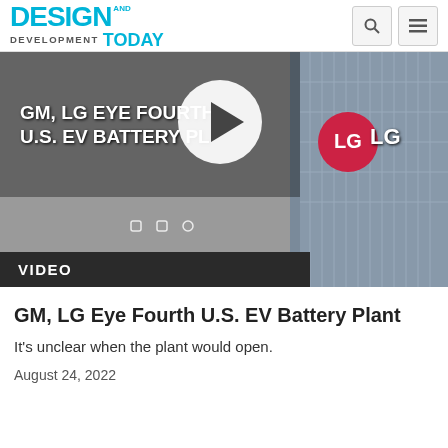DESIGN AND DEVELOPMENT TODAY
[Figure (screenshot): Video thumbnail showing a building with LG logo. Overlay text reads 'GM, LG EYE FOURTH U.S. EV BATTERY PL...' with a white play button circle in the center. Three navigation dots visible at the bottom left of the image. A dark banner at the bottom reads 'VIDEO'.]
GM, LG Eye Fourth U.S. EV Battery Plant
It's unclear when the plant would open.
August 24, 2022